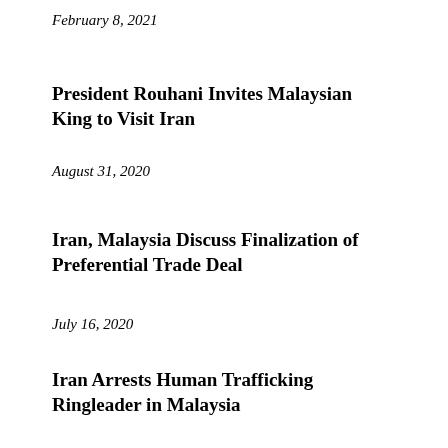February 8, 2021
President Rouhani Invites Malaysian King to Visit Iran
August 31, 2020
Iran, Malaysia Discuss Finalization of Preferential Trade Deal
July 16, 2020
Iran Arrests Human Trafficking Ringleader in Malaysia
May 18, 2020